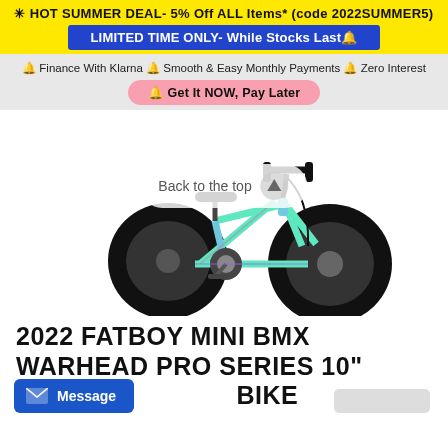✳ HOT SUMMER DEAL- 5% Off ALL Items* (code 2022SUMMER5)
LIMITED TIME ONLY- While Stocks Last🔔
🔔 Finance With Klarna 🔔 Smooth & Easy Monthly Payments 🔔 Zero Interest
🔔 Get It NOW, Pay Later
[Figure (photo): A mini BMX bike with iridescent teal/purple frame and fat black tires, black seat, black handlebars, photographed on white background.]
2022 FATBOY MINI BMX WARHEAD PRO SERIES 10" WHEEL FAT TIRE BIKE